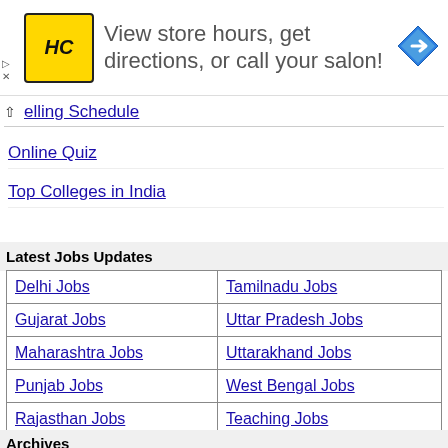[Figure (other): Advertisement banner for a salon with HC logo and navigation icon. Text: View store hours, get directions, or call your salon!]
elling Schedule
Online Quiz
Top Colleges in India
Latest Jobs Updates
| Delhi Jobs | Tamilnadu Jobs |
| Gujarat Jobs | Uttar Pradesh Jobs |
| Maharashtra Jobs | Uttarakhand Jobs |
| Punjab Jobs | West Bengal Jobs |
| Rajasthan Jobs | Teaching Jobs |
Archives